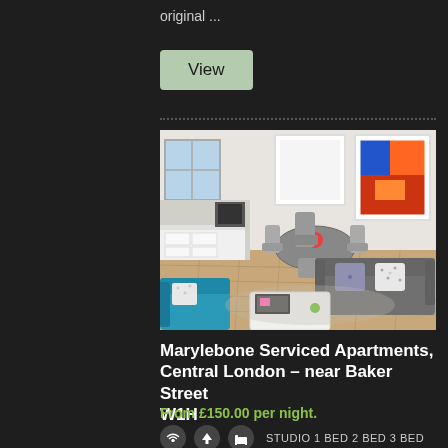original ...
View
[Figure (photo): Interior of a modern serviced apartment showing living room with grey sofa, teal accent chair, dining area, and kitchen in background. Colorful artwork on walls, wood flooring.]
Marylebone Serviced Apartments, Central London – near Baker Street W1H
From £150.00 per night.
STUDIO 1 BED 2 BED 3 BED